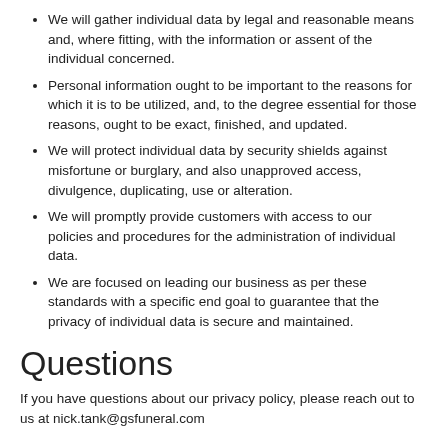We will gather individual data by legal and reasonable means and, where fitting, with the information or assent of the individual concerned.
Personal information ought to be important to the reasons for which it is to be utilized, and, to the degree essential for those reasons, ought to be exact, finished, and updated.
We will protect individual data by security shields against misfortune or burglary, and also unapproved access, divulgence, duplicating, use or alteration.
We will promptly provide customers with access to our policies and procedures for the administration of individual data.
We are focused on leading our business as per these standards with a specific end goal to guarantee that the privacy of individual data is secure and maintained.
Questions
If you have questions about our privacy policy, please reach out to us at nick.tank@gsfuneral.com